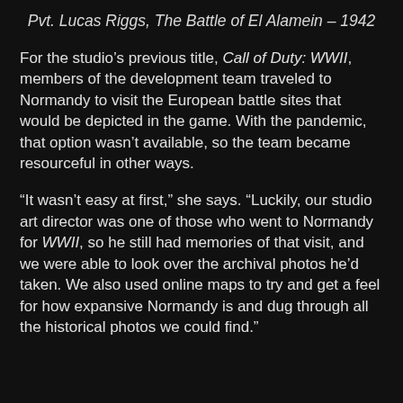Pvt. Lucas Riggs, The Battle of El Alamein – 1942
For the studio's previous title, Call of Duty: WWII, members of the development team traveled to Normandy to visit the European battle sites that would be depicted in the game. With the pandemic, that option wasn't available, so the team became resourceful in other ways.
“It wasn’t easy at first,” she says. “Luckily, our studio art director was one of those who went to Normandy for WWII, so he still had memories of that visit, and we were able to look over the archival photos he’d taken. We also used online maps to try and get a feel for how expansive Normandy is and dug through all the historical photos we could find.”